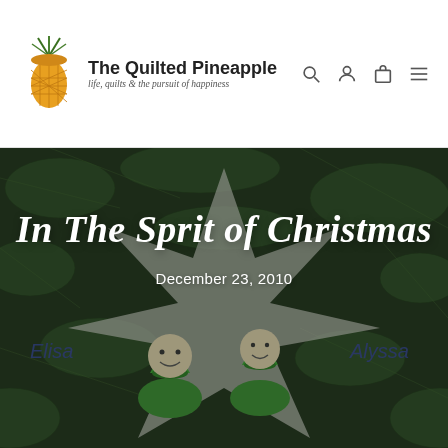[Figure (logo): The Quilted Pineapple logo with pineapple icon and tagline 'life, quilts & the pursuit of happiness']
[Figure (photo): Christmas ornament star with two elf/pea pod figures named Elisa and Alyssa, set against pine tree branches background]
In The Sprit of Christmas
December 23, 2010